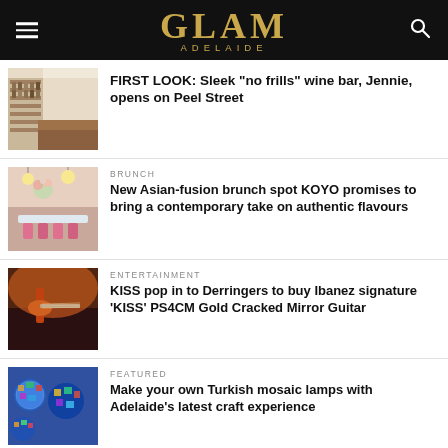GLAM ADELAIDE
[Figure (photo): Interior of a wine bar with shelves of wine bottles and a wood-topped counter]
FIRST LOOK: Sleek “no frills” wine bar, Jennie, opens on Peel Street
[Figure (photo): Interior of a brunch spot with floral arrangements on a marble counter and pink stools]
BRUNCH
New Asian-fusion brunch spot KOYO promises to bring a contemporary take on authentic flavours
[Figure (photo): Performer on stage playing guitar with orange lighting and glittery backdrop]
ENTERTAINMENT
KISS pop in to Derringers to buy Ibanez signature ‘KISS’ PS4CM Gold Cracked Mirror Guitar
[Figure (photo): Colourful Turkish mosaic lamps displayed together]
FEATURED
Make your own Turkish mosaic lamps with Adelaide’s latest craft experience